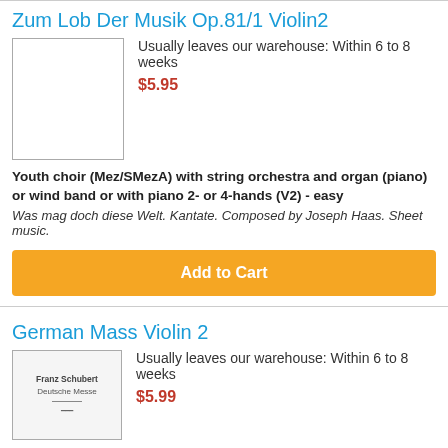Zum Lob Der Musik Op.81/1 Violin2
Usually leaves our warehouse: Within 6 to 8 weeks
$5.95
Youth choir (Mez/SMezA) with string orchestra and organ (piano) or wind band or with piano 2- or 4-hands (V2) - easy
Was mag doch diese Welt. Kantate. Composed by Joseph Haas. Sheet music.
Add to Cart
German Mass Violin 2
Usually leaves our warehouse: Within 6 to 8 weeks
$5.99